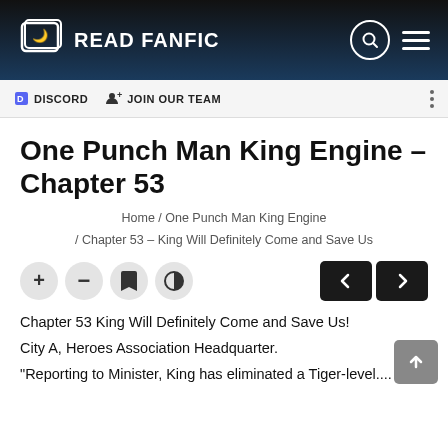Read Fanfic
DISCORD  JOIN OUR TEAM
One Punch Man King Engine - Chapter 53
Home / One Punch Man King Engine / Chapter 53 - King Will Definitely Come and Save Us
Chapter 53 King Will Definitely Come and Save Us!
City A, Heroes Association Headquarter.
"Reporting to Minister, King has eliminated a Tiger-level....